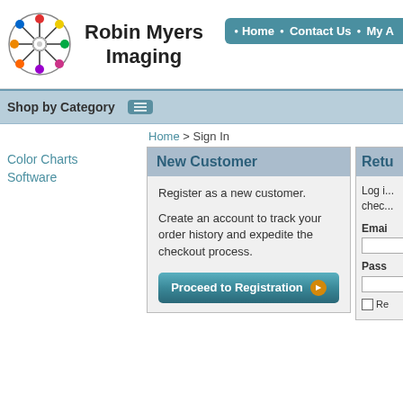[Figure (logo): Robin Myers Imaging circular logo with colored dots on spokes]
Robin Myers Imaging
Home • Contact Us • My A...
Shop by Category
Home > Sign In
Color Charts
Software
New Customer
Register as a new customer.
Create an account to track your order history and expedite the checkout process.
Proceed to Registration
Retu...
Log i... chec...
Email
Pass...
Re...